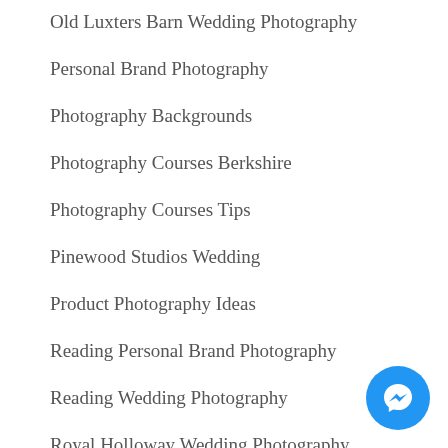Old Luxters Barn Wedding Photography
Personal Brand Photography
Photography Backgrounds
Photography Courses Berkshire
Photography Courses Tips
Pinewood Studios Wedding
Product Photography Ideas
Reading Personal Brand Photography
Reading Wedding Photography
Royal Holloway Wedding Photography
Sandhurst Military Academy Wedding